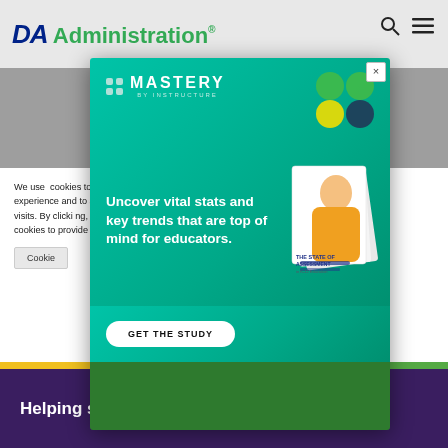DA Administration
[Figure (screenshot): Mastery by Instructure advertisement popup. Green gradient background with Mastery logo, decorative circles, headline 'Uncover vital stats and key trends that are top of mind for educators.', book/report image on right, GET THE STUDY CTA button.]
We use cookies to offer you a more relevant experience and to analyze site traffic and past visits. By clicking 'Accept All', you agree to the use of cookies. You may use Cookie Settings to provide a controlled consent.
Cookie Settings
Accept All
Helping students communicate